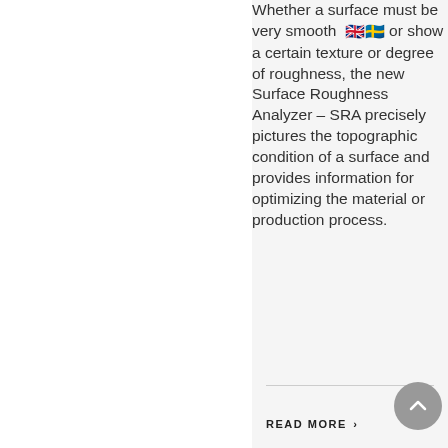Whether a surface must be very smooth or show a certain texture or degree of roughness, the new Surface Roughness Analyzer – SRA precisely pictures the topographic condition of a surface and provides information for optimizing the material or production process.
READ MORE ›